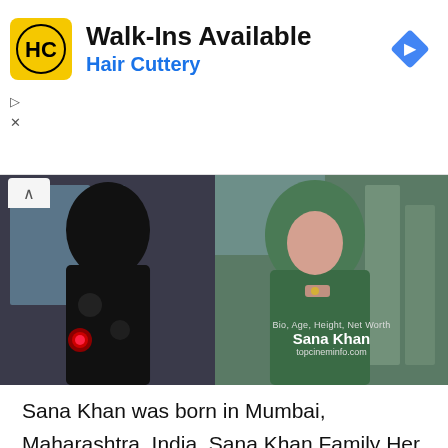[Figure (infographic): Hair Cuttery advertisement banner with yellow HC logo, text 'Walk-Ins Available' and 'Hair Cuttery', and a blue navigation diamond icon on the right. Play and X controls on the left.]
[Figure (photo): Two photos of Sana Khan side by side: left photo shows her in a black hijab holding a red rose with city view background; right photo shows her in a green hijab resting chin on hand with skyscraper background. Overlay text reads 'Bio, Age, Height, Net Worth / Sana Khan / topcineminfo.com']
Sana Khan was born in Mumbai, Maharashtra, India. Sana Khan Family Her father is from Kerala and her mother Saeeda is originally from Mumbai. Education She did